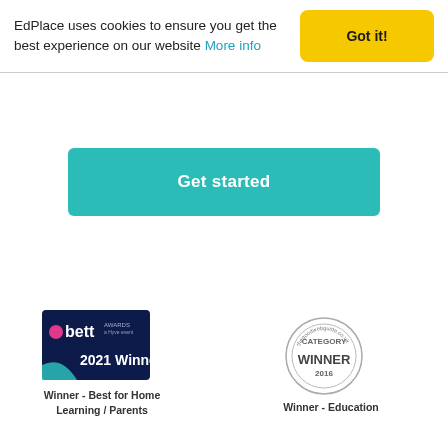EdPlace uses cookies to ensure you get the best experience on our website More info
Got it!
Get started
[Figure (logo): Bett Awards 2021 Winner badge - dark blue background with bett logo and '2021 Winner' text]
Winner - Best for Home Learning / Parents
[Figure (logo): The Good Web Guide Category Winner 2016 circular stamp badge]
Winner - Education